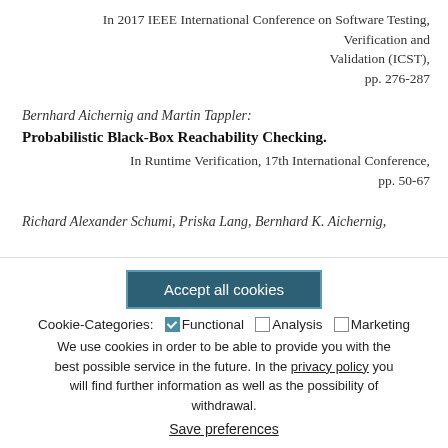In 2017 IEEE International Conference on Software Testing, Verification and Validation (ICST), pp. 276-287
Bernhard Aichernig and Martin Tappler: Probabilistic Black-Box Reachability Checking.
In Runtime Verification, 17th International Conference, pp. 50-67
Richard Alexander Schumi, Priska Lang, Bernhard K. Aichernig,
Accept all cookies
Cookie-Categories: Functional Analysis Marketing
We use cookies in order to be able to provide you with the best possible service in the future. In the privacy policy you will find further information as well as the possibility of withdrawal.
Save preferences